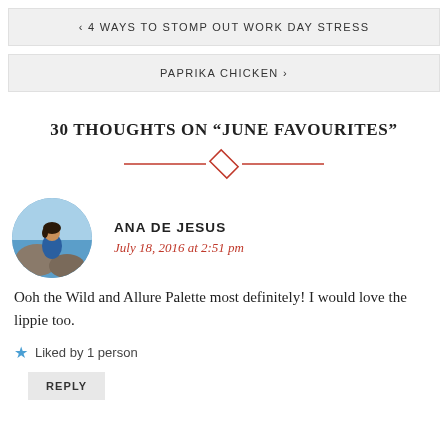< 4 WAYS TO STOMP OUT WORK DAY STRESS
PAPRIKA CHICKEN >
30 THOUGHTS ON "JUNE FAVOURITES"
[Figure (illustration): Decorative red diamond divider with horizontal lines on either side]
[Figure (photo): Circular avatar photo of Ana De Jesus, a woman sitting on rocks near water in a blue outfit]
ANA DE JESUS
July 18, 2016 at 2:51 pm
Ooh the Wild and Allure Palette most definitely! I would love the lippie too.
Liked by 1 person
REPLY